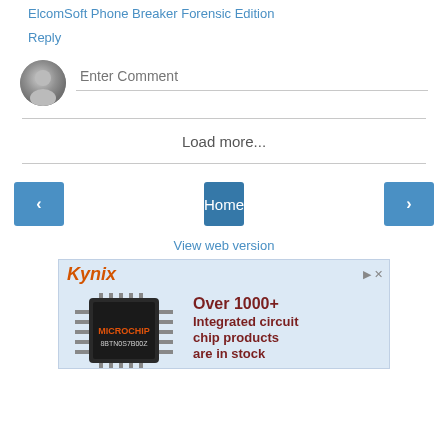ElcomSoft Phone Breaker Forensic Edition
Reply
[Figure (other): Comment input area with avatar icon and 'Enter Comment' placeholder text]
Load more...
Home
View web version
[Figure (other): Kynix advertisement banner showing 'Over 1000+ Integrated circuit chip products are in stock' with a Microchip IC image]